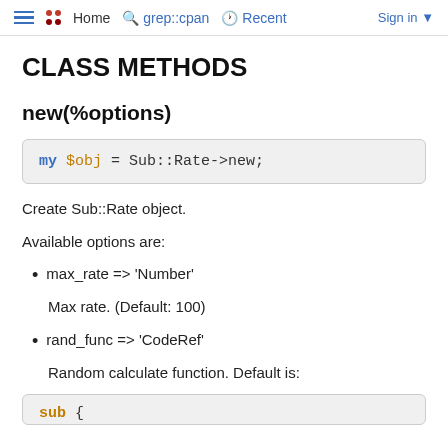≡  Home  grep::cpan  Recent  Sign in
CLASS METHODS
new(%options)
Create Sub::Rate object.
Available options are:
max_rate => 'Number'
Max rate. (Default: 100)
rand_func => 'CodeRef'
Random calculate function. Default is: